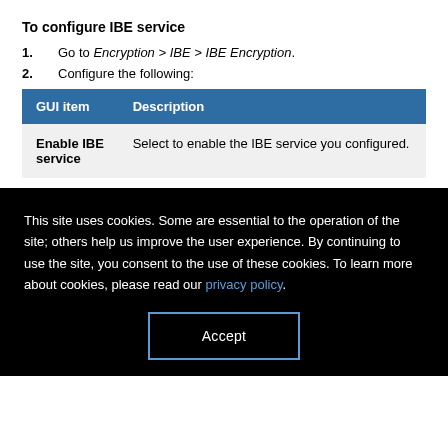To configure IBE service
1. Go to Encryption > IBE > IBE Encryption.
2. Configure the following:
| GUI item | Description |
| --- | --- |
| Enable IBE service | Select to enable the IBE service you configured. |
This site uses cookies. Some are essential to the operation of the site; others help us improve the user experience. By continuing to use the site, you consent to the use of these cookies. To learn more about cookies, please read our privacy policy.
Accept